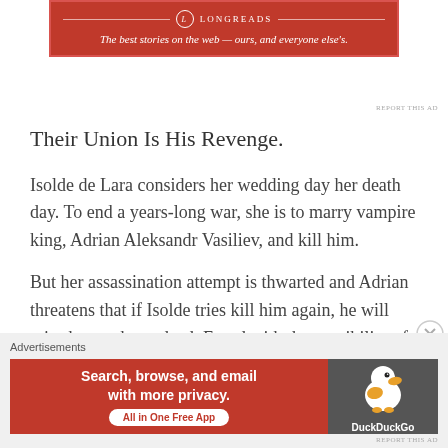[Figure (logo): Longreads advertisement banner: red background with Longreads logo and tagline 'The best stories on the web — ours, and everyone else's.']
Their Union Is His Revenge.
Isolde de Lara considers her wedding day her death day. To end a years-long war, she is to marry vampire king, Adrian Aleksandr Vasiliev, and kill him.
But her assassination attempt is thwarted and Adrian threatens that if Isolde tries kill him again, he will raise her as the undead. Faced with the possibility of becoming the thing she hates most, Isolde seeks other ways to defy him and survive the brutal vampire court.
Advertisements
[Figure (infographic): DuckDuckGo advertisement: red background with text 'Search, browse, and email with more privacy. All in One Free App' and DuckDuckGo logo on dark right panel.]